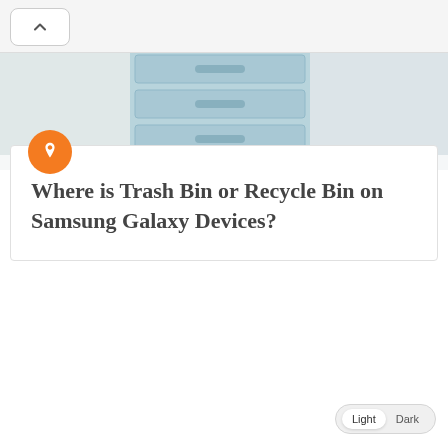[Figure (photo): Hero image showing a person carrying light blue storage bins or drawers, cropped to top portion]
Where is Trash Bin or Recycle Bin on Samsung Galaxy Devices?